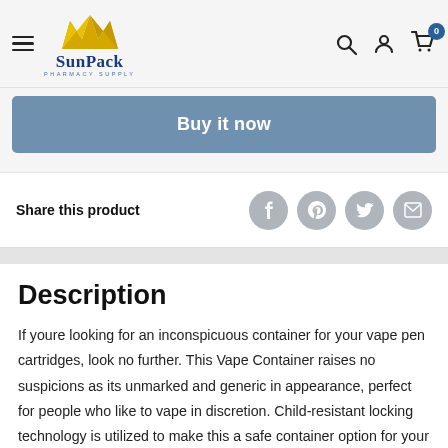SunPack Pharmacy Supply — navigation header with logo, hamburger menu, search, account, and cart icons
[Figure (screenshot): Blue 'Buy it now' button]
Share this product
[Figure (infographic): Social share icons: Facebook, Pinterest, Twitter, Email]
Description
If youre looking for an inconspicuous container for your vape pen cartridges, look no further. This Vape Container raises no suspicions as its unmarked and generic in appearance, perfect for people who like to vape in discretion. Child-resistant locking technology is utilized to make this a safe container option for your vapor cartridges. Designed from rugged plastic, it offers a durable